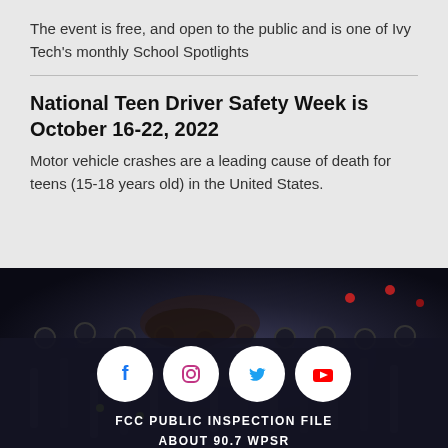The event is free, and open to the public and is one of Ivy Tech's monthly School Spotlights
National Teen Driver Safety Week is October 16-22, 2022
Motor vehicle crashes are a leading cause of death for teens (15-18 years old) in the United States.
[Figure (photo): Dark background photo of a radio station mixing board with blurred knobs, sliders, and colored indicator lights]
[Figure (infographic): Four social media icons (Facebook, Instagram, Twitter, YouTube) as white circles on dark background]
FCC PUBLIC INSPECTION FILE
ABOUT 90.7 WPSR
SICTC
CONTACT US